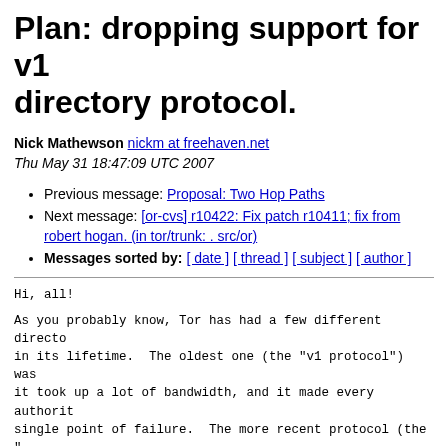Plan: dropping support for v1 directory protocol.
Nick Mathewson nickm at freehaven.net
Thu May 31 18:47:09 UTC 2007
Previous message: Proposal: Two Hop Paths
Next message: [or-cvs] r10422: Fix patch r10411; fix from robert hogan. (in tor/trunk: . src/or)
Messages sorted by: [ date ] [ thread ] [ subject ] [ author ]
Hi, all!
As you probably know, Tor has had a few different directo in its lifetime.  The oldest one (the "v1 protocol") was it took up a lot of bandwidth, and it made every authorit single point of failure.  The more recent protocol (the " been fully supported since 0.1.1.8-alpha.
Unfortunately, there are still some tools that use v1 di there are still some clients (and even a few servers!) ru 0.1.0.x.  This is bad for a number of reasons: The 0.1.0 not been supported for a while.  Tor 0.1.1.x has been sta than a year now, and it has a lot of important security